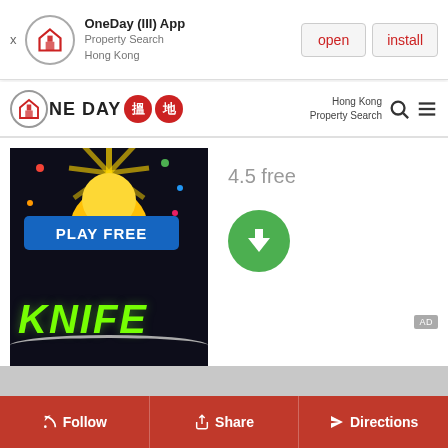[Figure (screenshot): App install banner for OneDay (III) App - Property Search Hong Kong with open and install buttons]
[Figure (logo): OneDay 搵地 Property Search Hong Kong navigation bar logo with search and menu icons]
[Figure (screenshot): Knife game advertisement showing Play Free banner and Knife text on dark background with download button showing 4.5 free rating]
[Figure (infographic): Bottom navigation bar with Follow, Share, and Directions buttons in red]